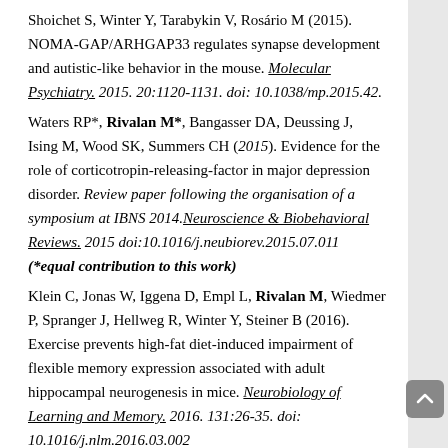Shoichet S, Winter Y, Tarabykin V, Rosário M (2015). NOMA-GAP/ARHGAP33 regulates synapse development and autistic-like behavior in the mouse. Molecular Psychiatry. 2015. 20:1120-1131. doi: 10.1038/mp.2015.42.
Waters RP*, Rivalan M*, Bangasser DA, Deussing J, Ising M, Wood SK, Summers CH (2015). Evidence for the role of corticotropin-releasing-factor in major depression disorder. Review paper following the organisation of a symposium at IBNS 2014. Neuroscience & Biobehavioral Reviews. 2015 doi:10.1016/j.neubiorev.2015.07.011 (*equal contribution to this work)
Klein C, Jonas W, Iggena D, Empl L, Rivalan M, Wiedmer P, Spranger J, Hellweg R, Winter Y, Steiner B (2016). Exercise prevents high-fat diet-induced impairment of flexible memory expression associated with adult hippocampal neurogenesis in mice. Neurobiology of Learning and Memory. 2016. 131:26-35. doi: 10.1016/j.nlm.2016.03.002
Klein C, Rasinska JU, Empl L, Sparenberg M, Anahita P,